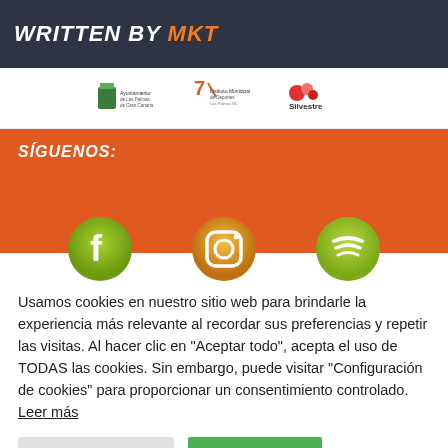WRITTEN BY MKT
[Figure (logo): Three institutional logos: Ayuntamiento de Las Palmas de Gran Canaria, Instituto Municipal de Deportes, and Silvestre]
SÍGUENOS:
[Figure (illustration): Three social media icons: Facebook (green), Instagram (orange/white), Spotify (green)]
Usamos cookies en nuestro sitio web para brindarle la experiencia más relevante al recordar sus preferencias y repetir las visitas. Al hacer clic en "Aceptar todo", acepta el uso de TODAS las cookies. Sin embargo, puede visitar "Configuración de cookies" para proporcionar un consentimiento controlado. Leer más
Configurar Cookies    Aceptar todas